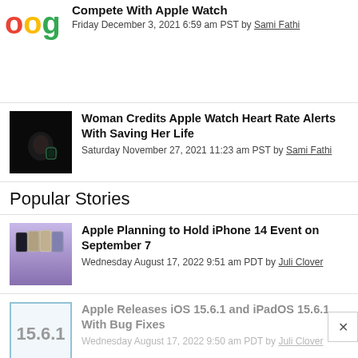[Figure (logo): Google logo (partial, colorful letters 'oogle' visible)]
Compete With Apple Watch
Friday December 3, 2021 6:59 am PST by Sami Fathi
[Figure (photo): Dark image with person and Apple Watch glow]
Woman Credits Apple Watch Heart Rate Alerts With Saving Her Life
Saturday November 27, 2021 11:23 am PST by Sami Fathi
Popular Stories
[Figure (photo): Row of iPhone 14 Pro models in various colors on purple background]
Apple Planning to Hold iPhone 14 Event on September 7
Wednesday August 17, 2022 9:51 am PDT by Juli Clover
[Figure (screenshot): iOS 15.6.1 update icon/logo]
Apple Releases iOS 15.6.1 and iPadOS 15.6.1 With Bug Fixes
Wednesday August 17, 2022 9:50 am PDT by Juli Clover